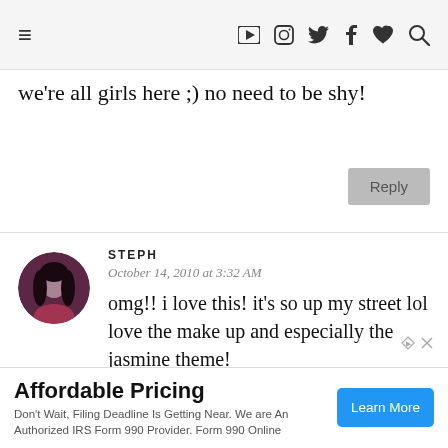[Figure (screenshot): Website navigation bar with hamburger menu icon, social media icons (YouTube, Instagram, Twitter, Facebook, heart/favorites, search), on a light gray background]
we're all girls here ;) no need to be shy!
[Figure (other): Gray Reply button]
[Figure (photo): Circular avatar photo of a dark-haired woman — commenter Steph]
STEPH
October 14, 2010 at 3:32 AM
omg!! i love this! it's so up my street lol love the make up and especially the jasmine theme!
Affordable Pricing
Don't Wait, Filing Deadline Is Getting Near. We are An Authorized IRS Form 990 Provider. Form 990 Online
[Figure (other): Blue Learn More button in advertisement]